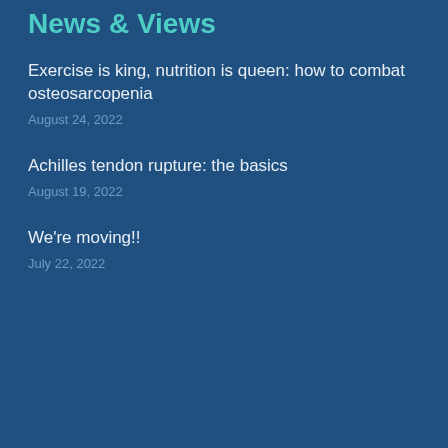News & Views
Exercise is king, nutrition is queen: how to combat osteosarcopenia
August 24, 2022
Achilles tendon rupture: the basics
August 19, 2022
We're moving!!
July 22, 2022